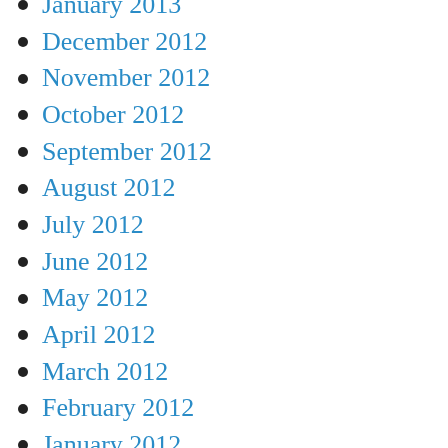January 2013
December 2012
November 2012
October 2012
September 2012
August 2012
July 2012
June 2012
May 2012
April 2012
March 2012
February 2012
January 2012
December 2011
November 2011
October 2011